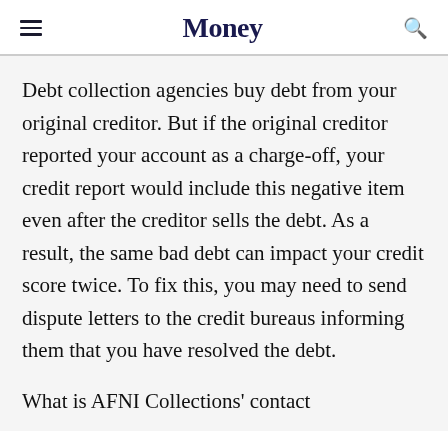Money
Debt collection agencies buy debt from your original creditor. But if the original creditor reported your account as a charge-off, your credit report would include this negative item even after the creditor sells the debt. As a result, the same bad debt can impact your credit score twice. To fix this, you may need to send dispute letters to the credit bureaus informing them that you have resolved the debt.
What is AFNI Collections' contact